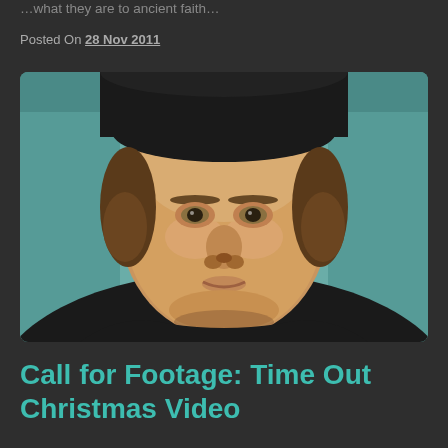…what they are to ancient faith…
Posted On 28 Nov 2011
[Figure (illustration): Classical oil painting portrait of a man, likely Martin Luther, wearing dark robes and a black hat, with a teal/green-blue background. The face is prominent and serious, depicting a heavyset middle-aged man with brown hair.]
Call for Footage: Time Out Christmas Video